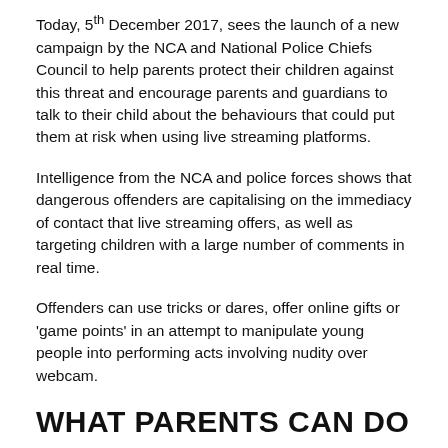communicate online and are using this knowledge to contact, befriend and abuse them'.
Today, 5th December 2017, sees the launch of a new campaign by the NCA and National Police Chiefs Council to help parents protect their children against this threat and encourage parents and guardians to talk to their child about the behaviours that could put them at risk when using live streaming platforms.
Intelligence from the NCA and police forces shows that dangerous offenders are capitalising on the immediacy of contact that live streaming offers, as well as targeting children with a large number of comments in real time.
Offenders can use tricks or dares, offer online gifts or 'game points' in an attempt to manipulate young people into performing acts involving nudity over webcam.
WHAT PARENTS CAN DO
It may be cliché but – Be.Involved.Online. It's more important than ever to parent in this area.